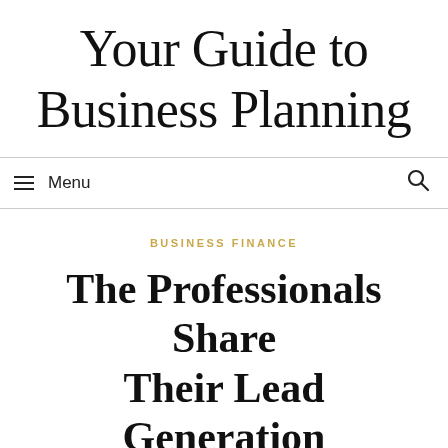Your Guide to Business Planning
Menu
BUSINESS FINANCE
The Professionals Share Their Lead Generation Secrets